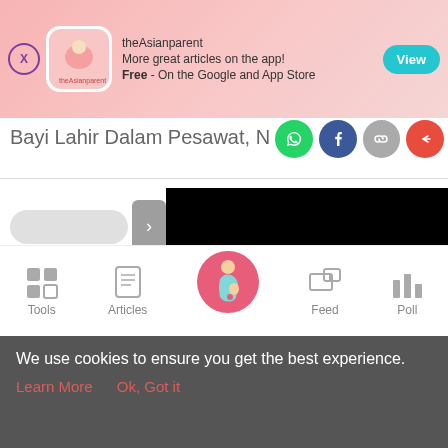[Figure (screenshot): theAsianparent app advertisement banner with pink gradient background, app icon, text and View button]
Bayi Lahir Dalam Pesawat, Nasib Ba
[Figure (screenshot): Share icons: WhatsApp (green), Facebook (blue), link (grey), share (red)]
[Figure (screenshot): Navigation arrow and black content block area]
[Figure (screenshot): Bottom navigation bar with Tools, Articles, pregnant woman home icon, Feed, Poll]
We use cookies to ensure you get the best experience.
Learn More    Ok, Got it